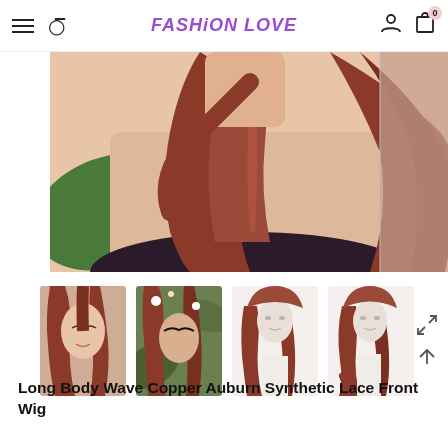FASHION LOVE — navigation bar with hamburger menu, search, user icon, cart (0)
[Figure (photo): Close-up main product photo of a person wearing a long body wave copper auburn wig, showing the flowing red-brown hair against fair skin]
[Figure (photo): Thumbnail 1: Young woman with long auburn wig, eyes closed, soft makeup]
[Figure (photo): Thumbnail 2: Woman wearing auburn wig with floral headpiece and fantasy makeup]
[Figure (photo): Thumbnail 3: Mannequin displaying the auburn wig from front, white background]
[Figure (photo): Thumbnail 4: Mannequin displaying the auburn wig from slight angle, white background]
Long Body Wave Copper Auburn Synthetic Lace Front Wig